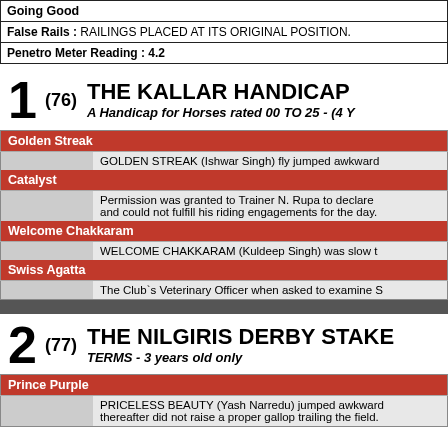Going Good
False Rails : RAILINGS PLACED AT ITS ORIGINAL POSITION.
Penetro Meter Reading : 4.2
1 (76) THE KALLAR HANDICAP A Handicap for Horses rated 00 TO 25 - (4 Y...
| Horse | Note |
| --- | --- |
| Golden Streak | GOLDEN STREAK (Ishwar Singh) fly jumped awkward... |
| Catalyst | Permission was granted to Trainer N. Rupa to declare and could not fulfill his riding engagements for the day. |
| Welcome Chakkaram | WELCOME CHAKKARAM (Kuldeep Singh) was slow t... |
| Swiss Agatta | The Club`s Veterinary Officer when asked to examine S... |
2 (77) THE NILGIRIS DERBY STAKES TERMS - 3 years old only
| Horse | Note |
| --- | --- |
| Prince Purple | PRICELESS BEAUTY (Yash Narredu) jumped awkward... thereafter did not raise a proper gallop trailing the field... |